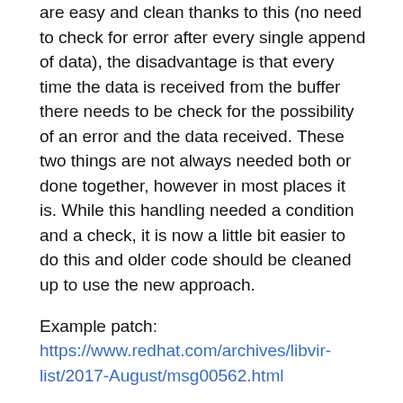are easy and clean thanks to this (no need to check for error after every single append of data), the disadvantage is that every time the data is received from the buffer there needs to be check for the possibility of an error and the data received. These two things are not always needed both or done together, however in most places it is. While this handling needed a condition and a check, it is now a little bit easier to do this and older code should be cleaned up to use the new approach.
Example patch: https://www.redhat.com/archives/libvir-list/2017-August/msg00562.html
More conversions to virErrorPreserveLast/virErrorRestore
virErrorPreserveLast + virErrorRestore are newer internal APIs for saving and restoring error reports. 'git grep virSaveLastError' and